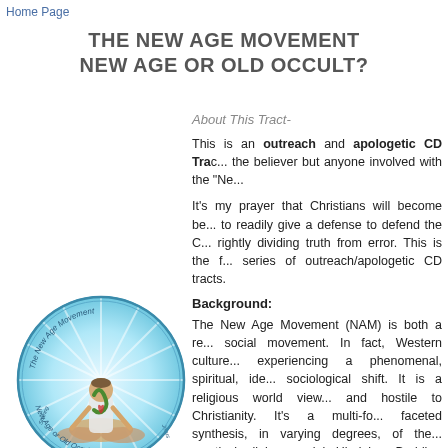Home Page
THE NEW AGE MOVEMENT
NEW AGE OR OLD OCCULT?
About This Tract-
This is an outreach and apologetic CD Tract... the believer but anyone involved with the "Ne...
It's my prayer that Christians will become be... to readily give a defense to defend the C... rightly dividing truth from error. This is the f... series of outreach/apologetic CD tracts.
Background:
[Figure (illustration): Circular logo/image for The New Age Movement CD tract showing a meditating figure with a snake, text reading 'The New Age Movement' and 'New Age or Old Occult?' around the circle with radiant background]
The New Age Movement (NAM) is both a re... social movement. In fact, Western culture... experiencing a phenomenal, spiritual, ide... sociological shift. It is a religious world view... and hostile to Christianity. It's a multi-fo... faceted synthesis, in varying degrees, of the... mystical religions, mainly Hinduism, Buddh... and Western Occultism, adapted to and i... Western, materialistic culture. It sometimes... secularized forms.
The New Age Movement consists of an inc... and well organized network consisting of t... groups, trusts, foundations, clubs, lodges,... groups whose goal and purpose is to prepar...